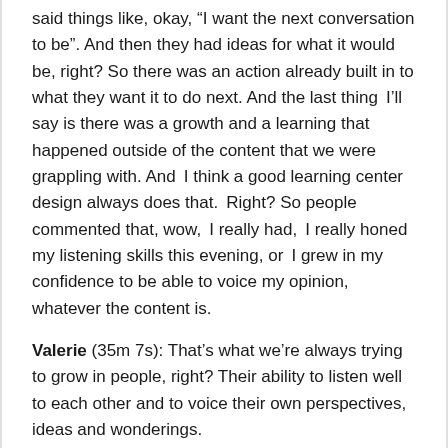said things like, okay, "I want the next conversation to be". And then they had ideas for what it would be, right? So there was an action already built in to what they want it to do next. And the last thing I'll say is there was a growth and a learning that happened outside of the content that we were grappling with. And I think a good learning center design always does that. Right? So people commented that, wow, I really had, I really honed my listening skills this evening, or I grew in my confidence to be able to voice my opinion, whatever the content is.
Valerie (35m 7s): That's what we're always trying to grow in people, right? Their ability to listen well to each other and to voice their own perspectives, ideas and wonderings.
Meg (35m 20s): Thank you, Val. That's such a powerful